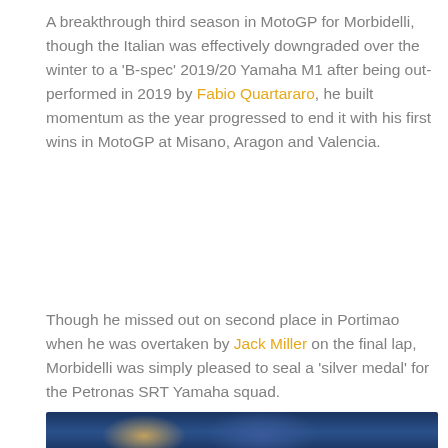A breakthrough third season in MotoGP for Morbidelli, though the Italian was effectively downgraded over the winter to a 'B-spec' 2019/20 Yamaha M1 after being out-performed in 2019 by Fabio Quartararo, he built momentum as the year progressed to end it with his first wins in MotoGP at Misano, Aragon and Valencia.
Though he missed out on second place in Portimao when he was overtaken by Jack Miller on the final lap, Morbidelli was simply pleased to seal a 'silver medal' for the Petronas SRT Yamaha squad.
[Figure (photo): Partial photo of a motorcycle racer, partially cropped at bottom of page, blue tones]